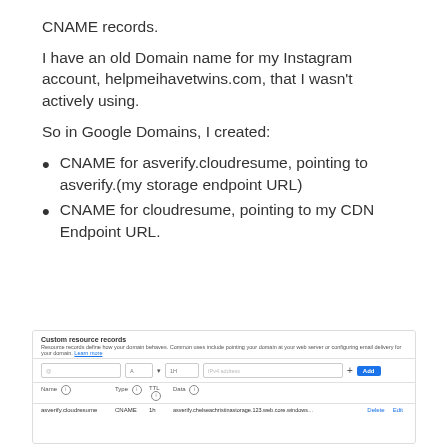CNAME records.
I have an old Domain name for my Instagram account, helpmeihavetwins.com, that I wasn't actively using.
So in Google Domains, I created:
CNAME for asverify.cloudresume, pointing to asverify.(my storage endpoint URL)
CNAME for cloudresume, pointing to my CDN Endpoint URL.
[Figure (screenshot): Screenshot of Google Domains Custom resource records interface showing a form to add DNS records and a table with asverify.cloudresume CNAME record entry.]